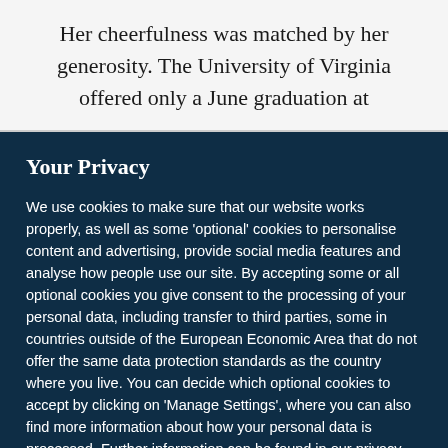Her cheerfulness was matched by her generosity. The University of Virginia offered only a June graduation at
Your Privacy
We use cookies to make sure that our website works properly, as well as some 'optional' cookies to personalise content and advertising, provide social media features and analyse how people use our site. By accepting some or all optional cookies you give consent to the processing of your personal data, including transfer to third parties, some in countries outside of the European Economic Area that do not offer the same data protection standards as the country where you live. You can decide which optional cookies to accept by clicking on 'Manage Settings', where you can also find more information about how your personal data is processed. Further information can be found in our privacy policy.
Accept all cookies
Manage preferences